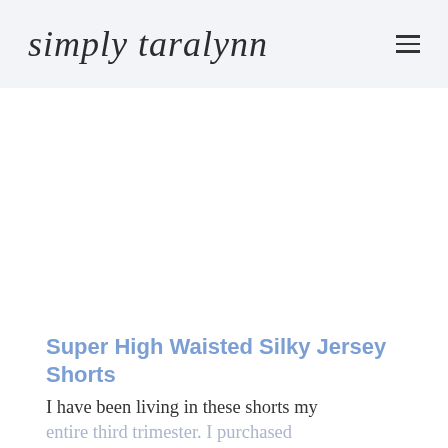simply taralynn
[Figure (other): Advertisement / blank white space area below the header]
Super High Waisted Silky Jersey Shorts
I have been living in these shorts my entire third trimester. I purchased them at the Express Outlet store in